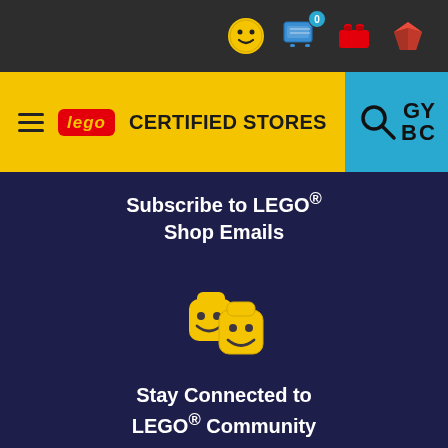[Figure (screenshot): LEGO Certified Stores website top navigation bar with dark top bar showing icons (smiley face, shopping cart with 0, red brick, red diamond/gem), and yellow nav bar with hamburger menu, LEGO logo, CERTIFIED STORES text, and blue section with search and language icons]
Subscribe to LEGO® Shop Emails
[Figure (illustration): Two yellow LEGO minifigure heads with smiley faces, overlapping]
Stay Connected to LEGO® Community
[Figure (illustration): LEGO delivery truck icon: gray truck body with yellow cab and blue LEGO bricks on top]
Check Order Status